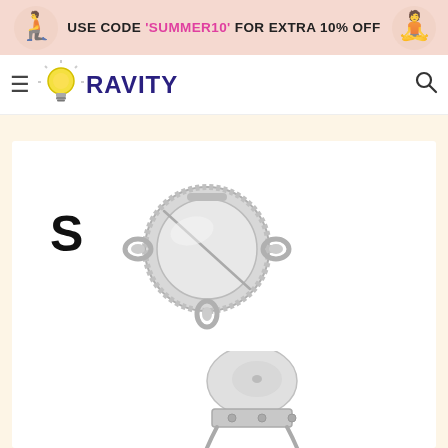USE CODE 'SUMMER10' FOR EXTRA 10% OFF
[Figure (logo): Ravity brand logo with lightbulb icon and navy text 'RAVITY']
[Figure (photo): Product images: stainless steel dumpling maker/press mold (top) with size label 'S', and a metal clip/hook product (bottom partial)]